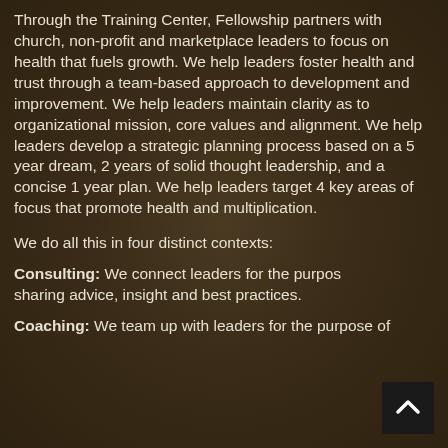Through the Training Center, Fellowship partners with church, non-profit and marketplace leaders to focus on health that fuels growth. We help leaders foster health and trust through a team-based approach to development and improvement. We help leaders maintain clarity as to organizational mission, core values and alignment. We help leaders develop a strategic planning process based on a 5 year dream, 2 years of solid thought leadership, and a concise 1 year plan. We help leaders target 4 key areas of focus that promote health and multiplication.
We do all this in four distinct contexts:
Consulting: We connect leaders for the purpose of sharing advice, insight and best practices.
Coaching: We team up with leaders for the purpose of